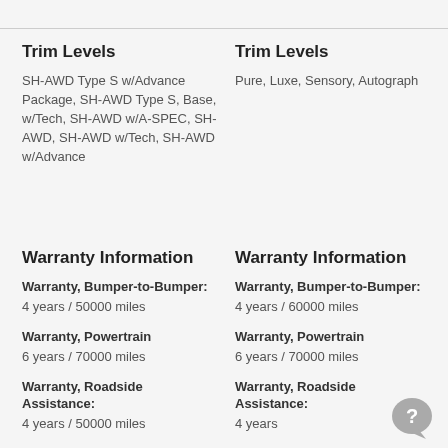Trim Levels
SH-AWD Type S w/Advance Package, SH-AWD Type S, Base, w/Tech, SH-AWD w/A-SPEC, SH-AWD, SH-AWD w/Tech, SH-AWD w/Advance
Trim Levels
Pure, Luxe, Sensory, Autograph
Warranty Information
Warranty Information
Warranty, Bumper-to-Bumper: 4 years / 50000 miles
Warranty, Bumper-to-Bumper: 4 years / 60000 miles
Warranty, Powertrain 6 years / 70000 miles
Warranty, Powertrain 6 years / 70000 miles
Warranty, Roadside Assistance: 4 years / 50000 miles
Warranty, Roadside Assistance: 4 years